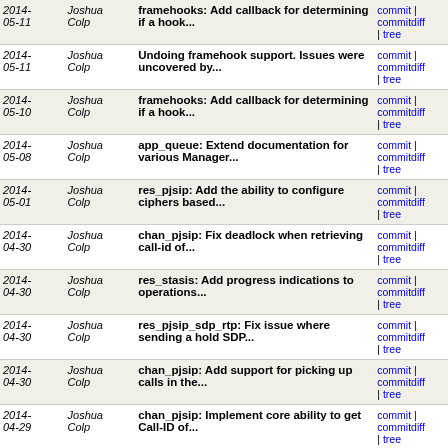| Date | Author | Message | Links |
| --- | --- | --- | --- |
| 2014-05-11 | Joshua Colp | framehooks: Add callback for determining if a hook... | commit | commitdiff | tree |
| 2014-05-11 | Joshua Colp | Undoing framehook support. Issues were uncovered by... | commit | commitdiff | tree |
| 2014-05-10 | Joshua Colp | framehooks: Add callback for determining if a hook... | commit | commitdiff | tree |
| 2014-05-08 | Joshua Colp | app_queue: Extend documentation for various Manager... | commit | commitdiff | tree |
| 2014-05-01 | Joshua Colp | res_pjsip: Add the ability to configure ciphers based... | commit | commitdiff | tree |
| 2014-04-30 | Joshua Colp | chan_pjsip: Fix deadlock when retrieving call-id of... | commit | commitdiff | tree |
| 2014-04-30 | Joshua Colp | res_stasis: Add progress indications to operations... | commit | commitdiff | tree |
| 2014-04-30 | Joshua Colp | res_pjsip_sdp_rtp: Fix issue where sending a hold SDP... | commit | commitdiff | tree |
| 2014-04-30 | Joshua Colp | chan_pjsip: Add support for picking up calls in the... | commit | commitdiff | tree |
| 2014-04-29 | Joshua Colp | chan_pjsip: Implement core ability to get Call-ID of... | commit | commitdiff | tree |
| 2014-04-22 | Joshua Colp | res_stasis: Fix crash when handling a failed blind... | commit | commitdiff | tree |
| 2014-04-17 | Joshua Colp | res_pjsip: Handle reloading when permanent contacts... | commit | commitdiff | tree |
| 2014-04-08 | Joshua Colp | res_pjsip: Ignore explicit transport configuration... | commit | commitdiff | tree |
| 2014- | Joshua | app_queue: Fix a bug where realtime | commit |